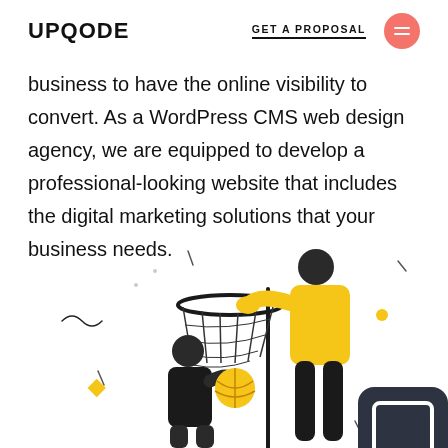UPQODE  GET A PROPOSAL
business to have the online visibility to convert. As a WordPress CMS web design agency, we are equipped to develop a professional-looking website that includes the digital marketing solutions that your business needs.
[Figure (illustration): Two figures playing basketball — one shorter figure in black holding a basketball up, one taller figure in yellow holding a basketball hoop/net. Decorative squiggles, dots, and line accents scattered around. A dark rounded square chat icon at bottom right.]